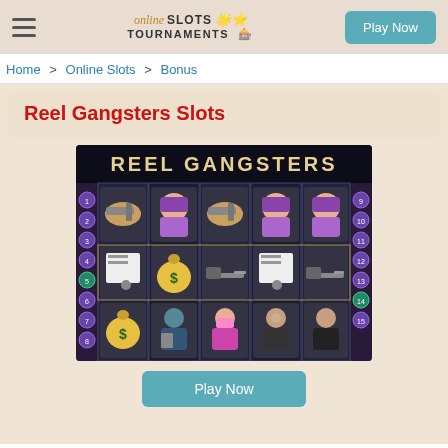Online Slots Tournaments — Play Now
Home > Online Slots > Bonus
Reel Gangsters Slots
[Figure (screenshot): Screenshot of the Reel Gangsters slot machine game showing 5 reels with gangster-themed symbols including women characters, guns, money bags, and other crime-themed icons. The game title 'REEL GANGSTERS' is displayed at the top.]
Play Now